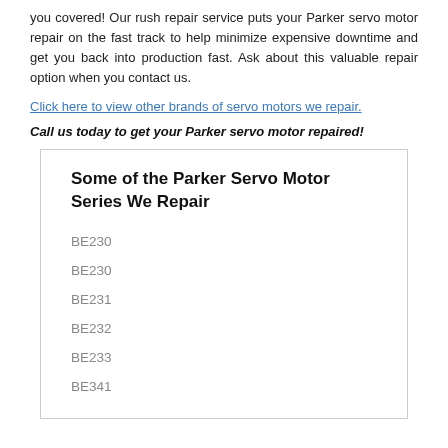you covered! Our rush repair service puts your Parker servo motor repair on the fast track to help minimize expensive downtime and get you back into production fast. Ask about this valuable repair option when you contact us.
Click here to view other brands of servo motors we repair.
Call us today to get your Parker servo motor repaired!
Some of the Parker Servo Motor Series We Repair
BE230
BE230
BE231
BE232
BE233
BE341